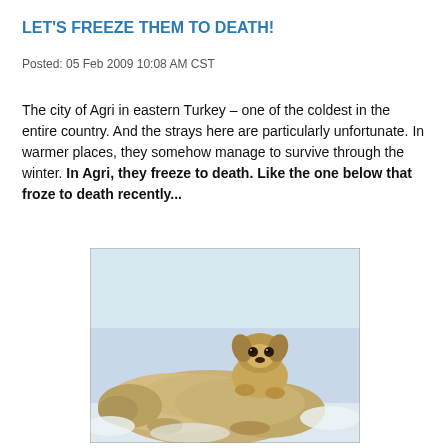LET'S FREEZE THEM TO DEATH!
Posted: 05 Feb 2009 10:08 AM CST
The city of Agri in eastern Turkey – one of the coldest in the entire country. And the strays here are particularly unfortunate. In warmer places, they somehow manage to survive through the winter. In Agri, they freeze to death. Like the one below that froze to death recently...
[Figure (photo): A small puppy standing on top of a larger dog lying in the snow. The larger dog appears to be frozen/dead. The puppy looks directly at the camera.]